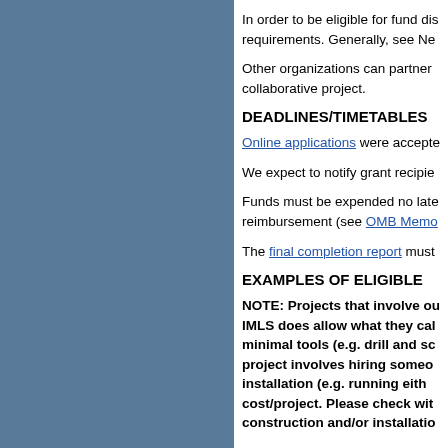In order to be eligible for fund dis requirements. Generally, see Ne
Other organizations can partner collaborative project.
DEADLINES/TIMETABLES
Online applications were accepted
We expect to notify grant recipie
Funds must be expended no late reimbursement (see OMB Memo
The final completion report must
EXAMPLES OF ELIGIBLE
NOTE: Projects that involve ou IMLS does allow what they cal minimal tools (e.g. drill and sc project involves hiring someo installation (e.g. running eith cost/project. Please check wit construction and/or installati